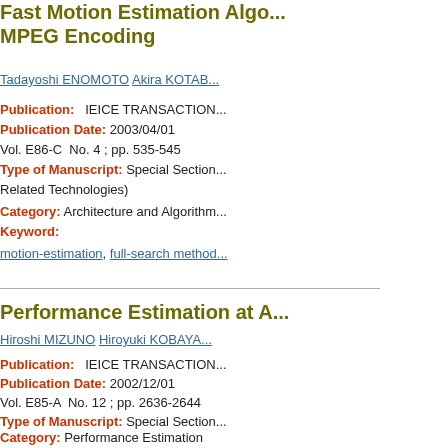Fast Motion Estimation Algo... MPEG Encoding
Tadayoshi ENOMOTO Akira KOTAB...
Publication: IEICE TRANSACTION...
Publication Date: 2003/04/01
Vol. E86-C No. 4 ; pp. 535-545
Type of Manuscript: Special Section... Related Technologies)
Category: Architecture and Algorithm...
Keyword:
motion-estimation, full-search method,...
Performance Estimation at A...
Hiroshi MIZUNO Hiroyuki KOBAYA...
Publication: IEICE TRANSACTION...
Publication Date: 2002/12/01
Vol. E85-A No. 12 ; pp. 2636-2644
Type of Manuscript: Special Section...
Category: Performance Estimation
Keyword:
power dissipation, architecture, embed...